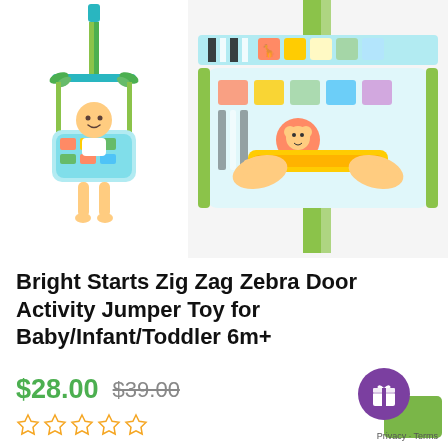[Figure (photo): Two product photos: left shows a baby in the Bright Starts Zig Zag Zebra Door Activity Jumper (full product view on white background), right shows a close-up of hands adjusting the colorful fabric seat with animal prints.]
Bright Starts Zig Zag Zebra Door Activity Jumper Toy for Baby/Infant/Toddler 6m+
$28.00  $39.00
[Figure (other): Five empty star rating icons in orange/gold outline]